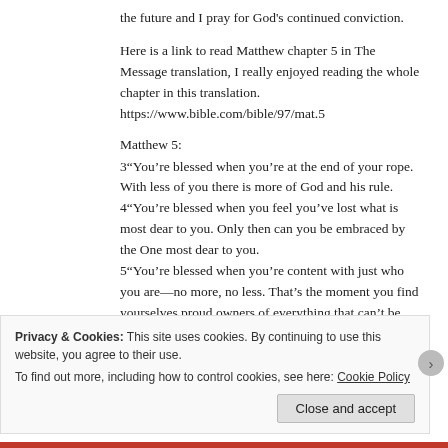the future and I pray for God's continued conviction.
Here is a link to read Matthew chapter 5 in The Message translation, I really enjoyed reading the whole chapter in this translation. https://www.bible.com/bible/97/mat.5
Matthew 5:
3“You’re blessed when you’re at the end of your rope. With less of you there is more of God and his rule.
4“You’re blessed when you feel you’ve lost what is most dear to you. Only then can you be embraced by the One most dear to you.
5“You’re blessed when you’re content with just who you are—no more, no less. That’s the moment you find yourselves proud owners of everything that can’t be bought.
Privacy & Cookies: This site uses cookies. By continuing to use this website, you agree to their use.
To find out more, including how to control cookies, see here: Cookie Policy
Close and accept